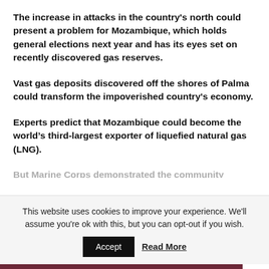The increase in attacks in the country's north could present a problem for Mozambique, which holds general elections next year and has its eyes set on recently discovered gas reserves.
Vast gas deposits discovered off the shores of Palma could transform the impoverished country's economy.
Experts predict that Mozambique could become the world’s third-largest exporter of liquefied natural gas (LNG).
But Marine Corps...
This website uses cookies to improve your experience. We'll assume you're ok with this, but you can opt-out if you wish.